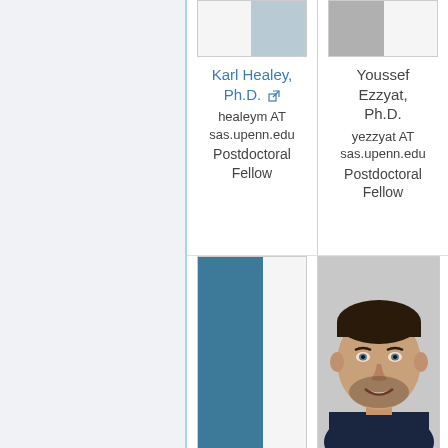[Figure (photo): Partial photo of Karl Healey at top, cropped at top of page]
Karl Healey, Ph.D. [link icon]
healeym AT sas.upenn.edu
Postdoctoral Fellow
[Figure (photo): Partial photo of Youssef Ezzyat at top, cropped at top of page]
Youssef Ezzyat, Ph.D.
yezzyat AT sas.upenn.edu
Postdoctoral Fellow
[Figure (photo): Partial photo bottom-left: teal/blue color background placeholder]
[Figure (photo): Partial photo bottom-right: smiling young man with dark hair and beard in dark shirt]